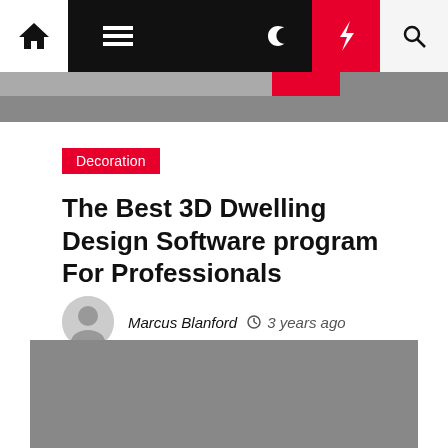Navigation bar with home, menu, moon, lightning, and search icons
[Figure (screenshot): Gray banner strip at top of content area]
Decoration
The Best 3D Dwelling Design Software program For Professionals
Marcus Blanford  3 years ago
[Figure (photo): Gray placeholder image at bottom of page]